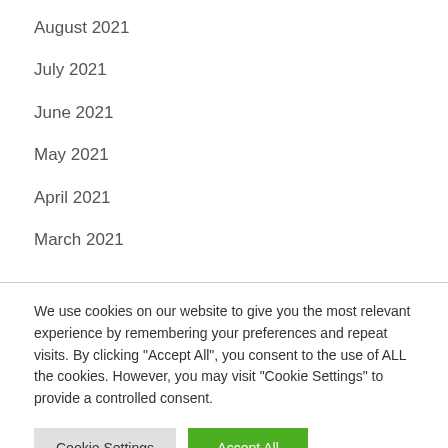August 2021
July 2021
June 2021
May 2021
April 2021
March 2021
We use cookies on our website to give you the most relevant experience by remembering your preferences and repeat visits. By clicking "Accept All", you consent to the use of ALL the cookies. However, you may visit "Cookie Settings" to provide a controlled consent.
Cookie Settings | Accept All